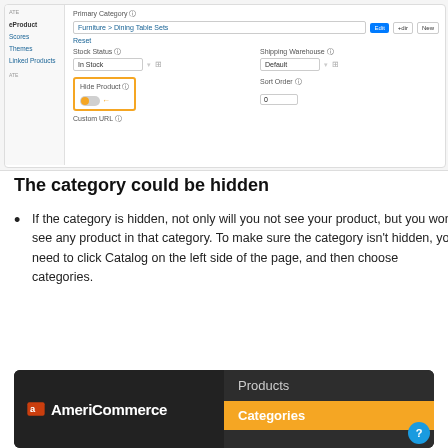[Figure (screenshot): A product admin form screenshot showing Primary Category, Stock Status, Shipping Warehouse, Hide Product toggle (highlighted with yellow border), Sort Order, and Custom URL fields. Sidebar shows eProduct, Scores, Themes, Linked Products links.]
The category could be hidden
If the category is hidden, not only will you not see your product, but you won't see any product in that category. To make sure the category isn't hidden, you need to click Catalog on the left side of the page, and then choose categories.
[Figure (screenshot): AmeriCommerce admin navigation screenshot showing dark sidebar with AmeriCommerce logo on left and Products and Categories menu items on the right, with Categories highlighted in yellow/orange.]